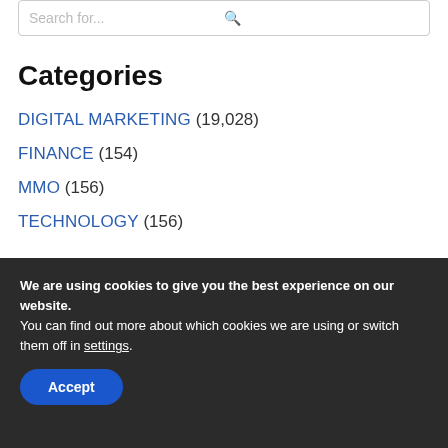Search for...
Categories
DIGITAL MARKETING (19,028)
FINANCE (154)
MMO (156)
TECHNOLOGY (156)
ABOUT
We are using cookies to give you the best experience on our website.
You can find out more about which cookies we are using or switch them off in settings.
Accept